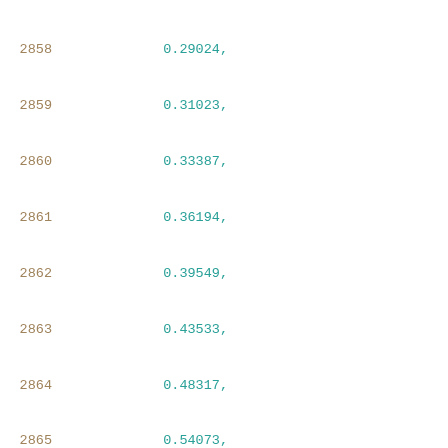2858    0.29024,
2859    0.31023,
2860    0.33387,
2861    0.36194,
2862    0.39549,
2863    0.43533,
2864    0.48317,
2865    0.54073,
2866    0.60955,
2867    0.69175,
2868    0.79051,
2869    0.90992,
2870    1.05168,
2871    1.22378
2872    ],
2873    [
2874    0.17633,
2875    0.26586,
2876    0.28037,
2877    0.29744,
2878    0.31741,
2879    0.34142,